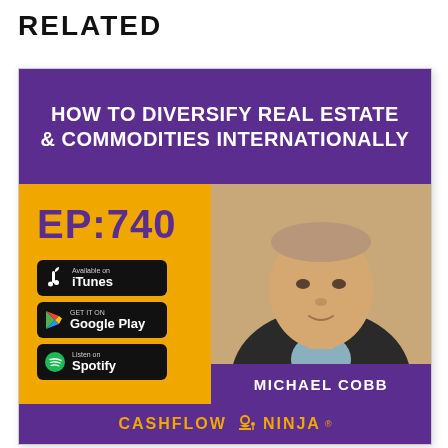RELATED
[Figure (illustration): Podcast episode promotional card for Cashflow Ninja, Episode 740 featuring Michael Cobb. Purple top banner reads 'HOW TO DIVERSIFY REAL ESTATE & COMMODITIES INTERNATIONALLY'. Yellow/gold background with EP:740 label, iTunes, Google Play, and Spotify badges on the left. Photo of Michael Cobb on the right with his name in a gold/purple banner. Bottom shows Cashflow Ninja logo/text.]